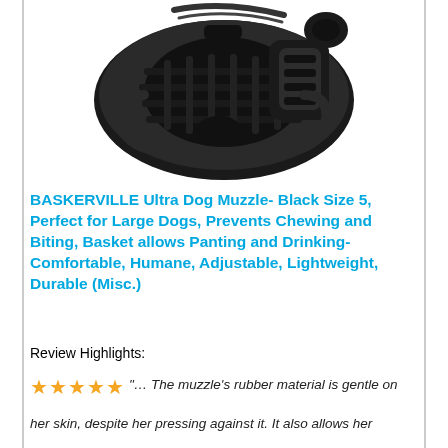[Figure (photo): Black dog muzzle (Baskerville Ultra) photographed from above on white background, showing basket-style rubber construction]
BASKERVILLE Ultra Dog Muzzle- Black Size 5, Perfect for Large Dogs, Prevents Chewing and Biting, Basket allows Panting and Drinking-Comfortable, Humane, Adjustable, Lightweight, Durable (Misc.)
Review Highlights:
"... The muzzle's rubber material is gentle on her skin, despite her pressing against it. It also allows her